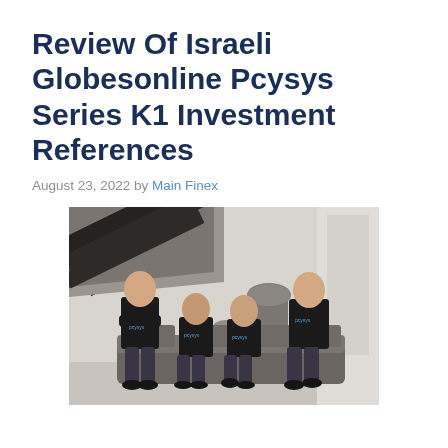Review Of Israeli Globesonline Pcysys Series K1 Investment References
August 23, 2022 by Main Finex
[Figure (photo): Four men wearing black Pcysys branded t-shirts seated on a grey couch in a modern interior with a staircase and large decorative vases in the background.]